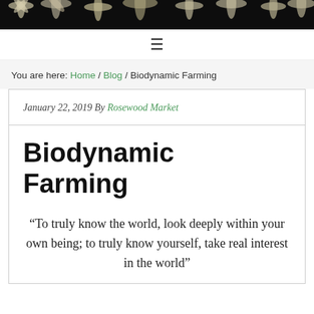[Figure (photo): Dark header photo showing fluffy white flowers/plants against a dark background]
≡ (hamburger menu icon)
You are here: Home / Blog / Biodynamic Farming
January 22, 2019 By Rosewood Market
Biodynamic Farming
“To truly know the world, look deeply within your own being; to truly know yourself, take real interest in the world”